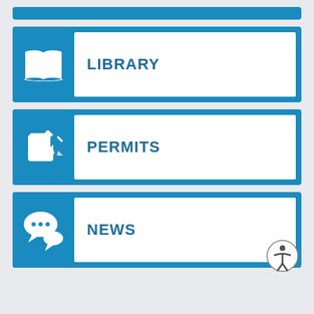[Figure (infographic): Navigation menu with three items: Library (book icon), Permits (pencil/form icon), News (speech bubble icon), and an accessibility button at bottom right.]
LIBRARY
PERMITS
NEWS